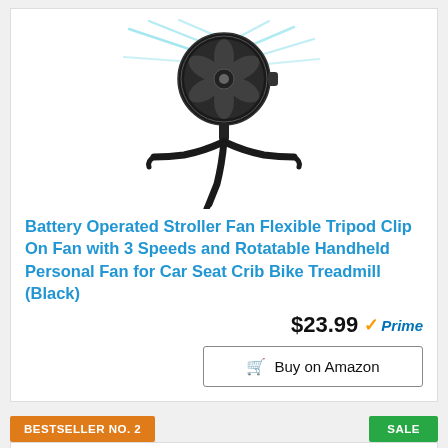[Figure (photo): Black clip-on tripod fan with flexible legs and a circular fan head with teal/green air flow lines shown]
Battery Operated Stroller Fan Flexible Tripod Clip On Fan with 3 Speeds and Rotatable Handheld Personal Fan for Car Seat Crib Bike Treadmill (Black)
$23.99 Prime
Buy on Amazon
BESTSELLER NO. 2
SALE
[Figure (photo): Partial view of a car interior product image, cropped at bottom of page]